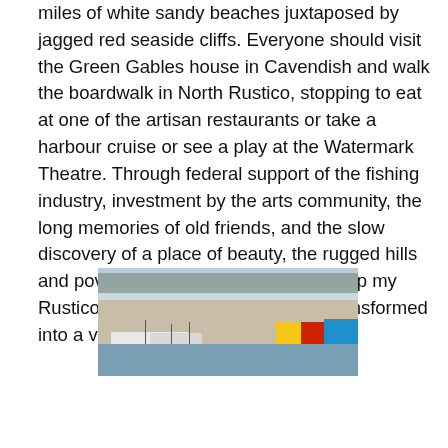miles of white sandy beaches juxtaposed by jagged red seaside cliffs. Everyone should visit the Green Gables house in Cavendish and walk the boardwalk in North Rustico, stopping to eat at one of the artisan restaurants or take a harbour cruise or see a play at the Watermark Theatre. Through federal support of the fishing industry, investment by the arts community, the long memories of old friends, and the slow discovery of a place of beauty, the rugged hills and poverty-stricken lanes that made up my Rustico schoolboy days have been transformed into a village of coastal charm.
[Figure (photo): A coastal harbour scene showing colourful fishing sheds (yellow, red, blue) on a dock with white fishing boats moored in the water, and trees in the background.]